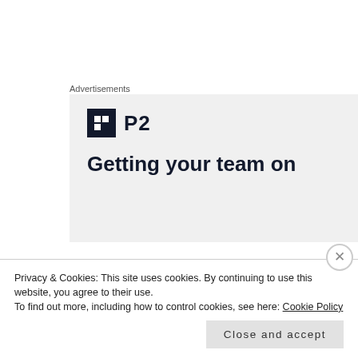Advertisements
[Figure (screenshot): Advertisement box with P2 logo and tagline 'Getting your team on']
Best in Bath 2017 – Wildcraft Buff Scrub and Joik Luxurious Rose Bathmilk. This is the nicest body scrub, and it smells amazing. It says that it can be used on the
Privacy & Cookies: This site uses cookies. By continuing to use this website, you agree to their use.
To find out more, including how to control cookies, see here: Cookie Policy
Close and accept